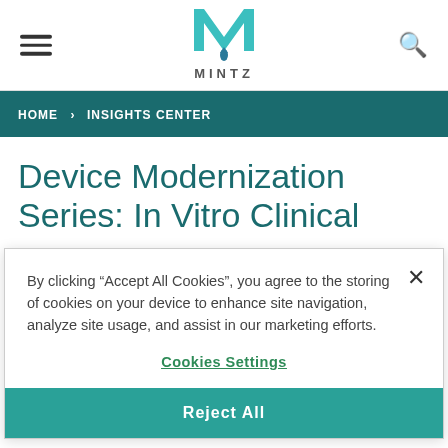[Figure (logo): Mintz law firm logo — teal M with droplet, MINTZ wordmark below]
HOME › INSIGHTS CENTER
Device Modernization Series: In Vitro Clinical
By clicking "Accept All Cookies", you agree to the storing of cookies on your device to enhance site navigation, analyze site usage, and assist in our marketing efforts.
Cookies Settings
Reject All